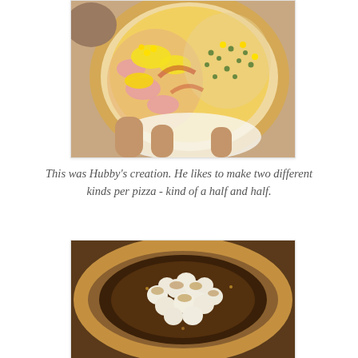[Figure (photo): Close-up photo of a pizza being held, topped with scrambled eggs, bacon, corn, capers/peas, and ham - two different toppings on each half]
This was Hubby's creation.  He likes to make two different kinds per pizza - kind of a half and half.
[Figure (photo): Close-up photo of a dessert pizza with toasted marshmallows on a brown sugar base with a golden crust]